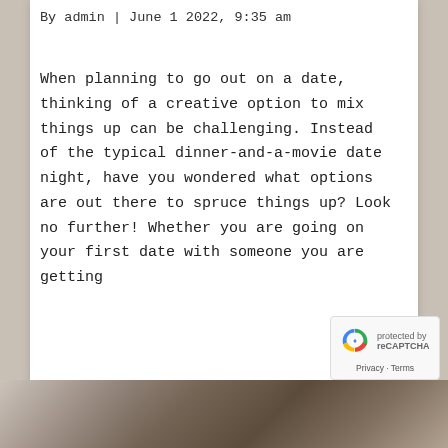By admin | June 1 2022, 9:35 am
When planning to go out on a date, thinking of a creative option to mix things up can be challenging. Instead of the typical dinner-and-a-movie date night, have you wondered what options are out there to spruce things up? Look no further! Whether you are going on your first date with someone you are getting
. Continue reading
Read More
[Figure (photo): Photo strip at the bottom of the page showing people at what appears to be a social event]
[Figure (logo): reCAPTCHA badge with recycling arrow logo, showing Privacy and Terms links]